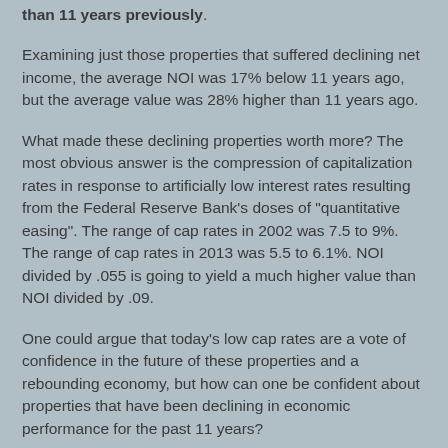than 11 years previously.
Examining just those properties that suffered declining net income, the average NOI was 17% below 11 years ago, but the average value was 28% higher than 11 years ago.
What made these declining properties worth more?  The most obvious answer is the compression of capitalization rates in response to artificially low interest rates resulting from the Federal Reserve Bank’s doses of “quantitative easing”.  The range of cap rates in 2002 was 7.5 to 9%.  The range of cap rates in 2013 was 5.5 to 6.1%.  NOI divided by .055 is going to yield a much higher value than NOI divided by .09.
One could argue that today’s low cap rates are a vote of confidence in the future of these properties and a rebounding economy, but how can one be confident about properties that have been declining in economic performance for the past 11 years?
It requires a leap of faith to value these properties as if their